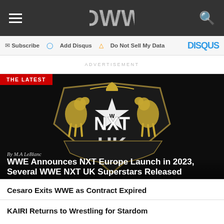OWW
Subscribe  Add Disqus  Do Not Sell My Data  DISQUS
ADVERTISEMENT
[Figure (illustration): NXT UK logo — black shield with gold heraldic lions and NXT UK text in white/silver, with THE LATEST red badge overlay]
By M.A LeBlanc
WWE Announces NXT Europe Launch in 2023, Several WWE NXT UK Superstars Released
Cesaro Exits WWE as Contract Expired
KAIRI Returns to Wrestling for Stardom